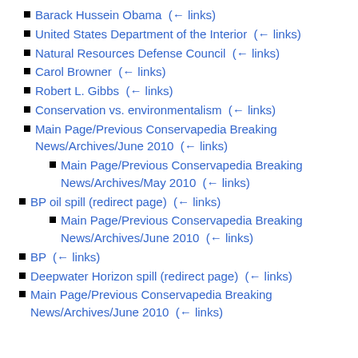Barack Hussein Obama  (← links)
United States Department of the Interior  (← links)
Natural Resources Defense Council  (← links)
Carol Browner  (← links)
Robert L. Gibbs  (← links)
Conservation vs. environmentalism  (← links)
Main Page/Previous Conservapedia Breaking News/Archives/June 2010  (← links)
Main Page/Previous Conservapedia Breaking News/Archives/May 2010  (← links)
BP oil spill (redirect page)  (← links)
Main Page/Previous Conservapedia Breaking News/Archives/June 2010  (← links)
BP  (← links)
Deepwater Horizon spill (redirect page)  (← links)
Main Page/Previous Conservapedia Breaking News/Archives/June 2010  (← links)